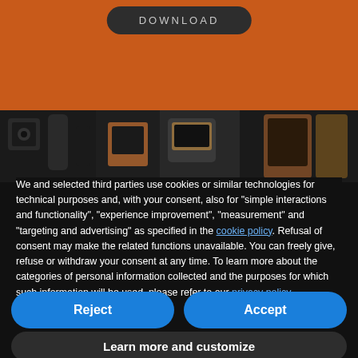[Figure (screenshot): Orange background section with a DOWNLOAD button (dark rounded rectangle, light grey text with letter-spacing)]
[Figure (photo): A dark photo strip showing engineering/industrial tools and instruments including meters and measurement equipment with orange accents]
We and selected third parties use cookies or similar technologies for technical purposes and, with your consent, also for "simple interactions and functionality", "experience improvement", "measurement" and "targeting and advertising" as specified in the cookie policy. Refusal of consent may make the related functions unavailable. You can freely give, refuse or withdraw your consent at any time. To learn more about the categories of personal information collected and the purposes for which such information will be used, please refer to our privacy policy.
Reject
Accept
Learn more and customize